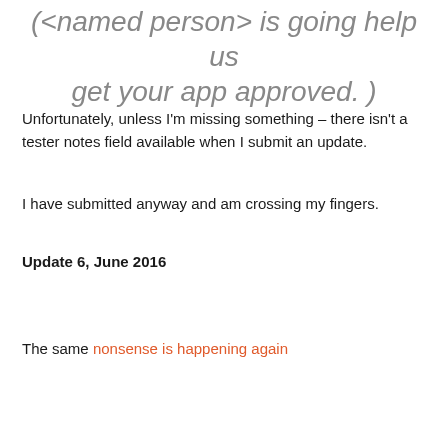(<named person> is going help us get your app approved. )
Unfortunately, unless I'm missing something – there isn't a tester notes field available when I submit an update.
I have submitted anyway and am crossing my fingers.
Update 6, June 2016
The same nonsense is happening again